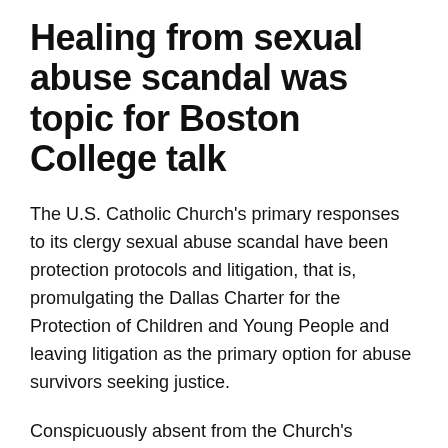Healing from sexual abuse scandal was topic for Boston College talk
The U.S. Catholic Church's primary responses to its clergy sexual abuse scandal have been protection protocols and litigation, that is, promulgating the Dallas Charter for the Protection of Children and Young People and leaving litigation as the primary option for abuse survivors seeking justice.
Conspicuously absent from the Church's responses have been programs and activities focused on healing wounds from the scandal.
Voice of the Faithful has an approach that the reform movement believes has great potential as a step on the